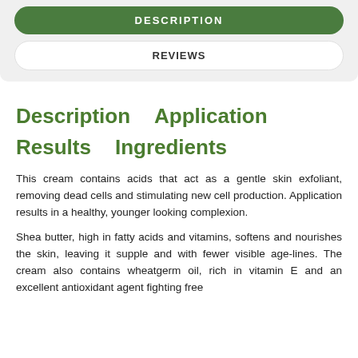DESCRIPTION
REVIEWS
Description    Application
Results    Ingredients
This cream contains acids that act as a gentle skin exfoliant, removing dead cells and stimulating new cell production. Application results in a healthy, younger looking complexion.
Shea butter, high in fatty acids and vitamins, softens and nourishes the skin, leaving it supple and with fewer visible age-lines. The cream also contains wheatgerm oil, rich in vitamin E and an excellent antioxidant agent fighting free